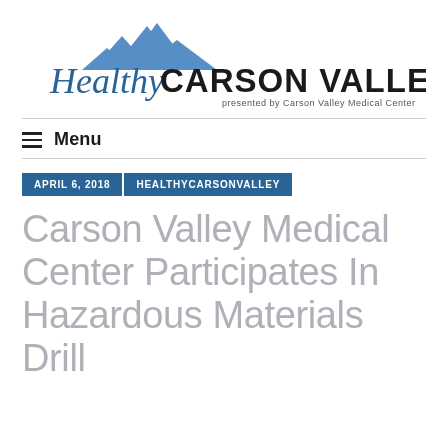[Figure (logo): Healthy Carson Valley logo — script 'Healthy' in blue and bold 'CARSON VALLEY' in black with mountain graphic above, presented by Carson Valley Medical Center]
≡  Menu
APRIL 6, 2018   HEALTHYCARSONVALLEY
Carson Valley Medical Center Participates In Hazardous Materials Drill